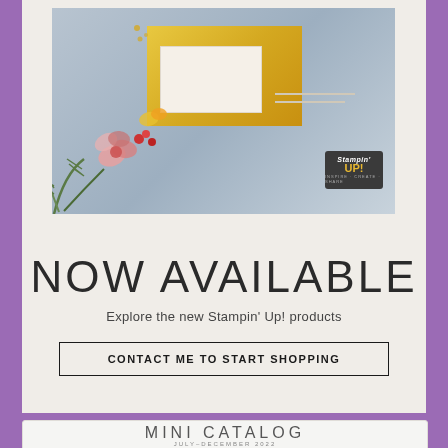[Figure (photo): Stampin Up product photo showing decorative greeting cards with floral designs, yellow watercolor background, and botanical elements. Stampin Up logo visible in bottom right corner.]
NOW AVAILABLE
Explore the new Stampin' Up! products
CONTACT ME TO START SHOPPING
[Figure (photo): Mini Catalog cover showing July-December 2022 with holiday/floral imagery and a dark red banner at the bottom.]